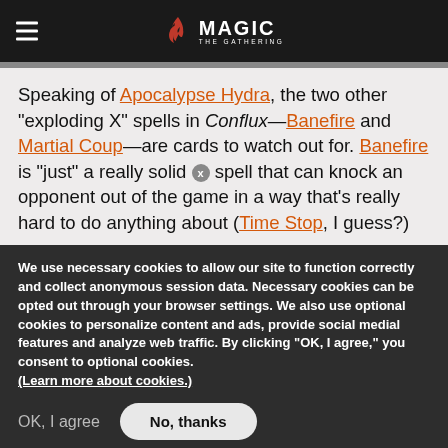Magic: The Gathering
Speaking of Apocalypse Hydra, the two other "exploding X" spells in Conflux—Banefire and Martial Coup—are cards to watch out for. Banefire is "just" a really solid X spell that can knock an opponent out of the game in a way that's really hard to do anything about (Time Stop, I guess?)
We use necessary cookies to allow our site to function correctly and collect anonymous session data. Necessary cookies can be opted out through your browser settings. We also use optional cookies to personalize content and ads, provide social medial features and analyze web traffic. By clicking “OK, I agree,” you consent to optional cookies. (Learn more about cookies.)